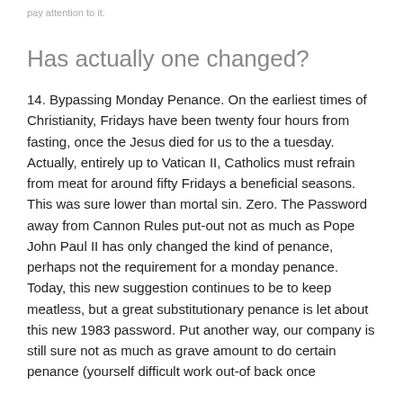pay attention to it.
Has actually one changed?
14. Bypassing Monday Penance. On the earliest times of Christianity, Fridays have been twenty four hours from fasting, once the Jesus died for us to the a tuesday. Actually, entirely up to Vatican II, Catholics must refrain from meat for around fifty Fridays a beneficial seasons. This was sure lower than mortal sin. Zero. The Password away from Cannon Rules put-out not as much as Pope John Paul II has only changed the kind of penance, perhaps not the requirement for a monday penance. Today, this new suggestion continues to be to keep meatless, but a great substitutionary penance is let about this new 1983 password. Put another way, our company is still sure not as much as grave amount to do certain penance (yourself difficult work out-of back once